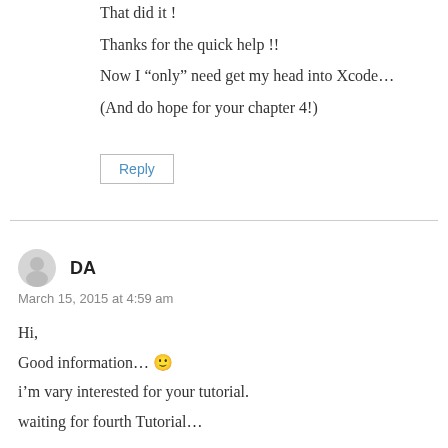That did it !
Thanks for the quick help !!
Now I “only” need get my head into Xcode...
(And do hope for your chapter 4!)
Reply
DA
March 15, 2015 at 4:59 am
Hi,
Good information... 🙂
i’m vary interested for your tutorial.
waiting for fourth Tutorial...
Reply